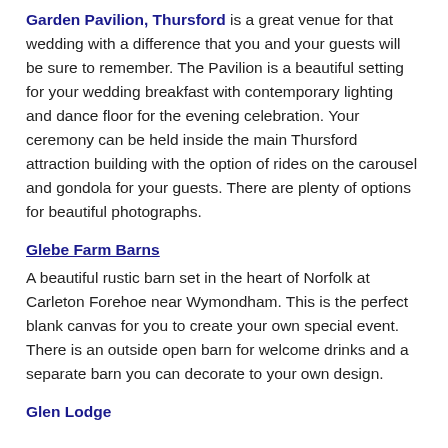Garden Pavilion, Thursford is a great venue for that wedding with a difference that you and your guests will be sure to remember. The Pavilion is a beautiful setting for your wedding breakfast with contemporary lighting and dance floor for the evening celebration. Your ceremony can be held inside the main Thursford attraction building with the option of rides on the carousel and gondola for your guests. There are plenty of options for beautiful photographs.
Glebe Farm Barns
A beautiful rustic barn set in the heart of Norfolk at Carleton Forehoe near Wymondham. This is the perfect blank canvas for you to create your own special event. There is an outside open barn for welcome drinks and a separate barn you can decorate to your own design.
Glen Lodge